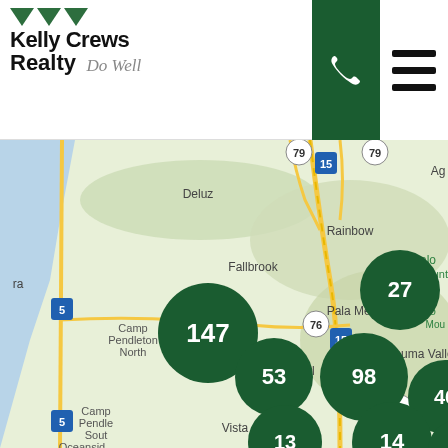[Figure (logo): Kelly Crews Realty logo with green downward triangles and 'Do Well' italic tagline]
[Figure (map): Google Maps view of San Diego North County region with green cluster bubbles showing property counts: 147 (Oceanside/Camp Pendleton area), 27 (Bonsall area), 53 (Vista/Escondido area), 98 (Escondido area), 46 (East Escondido), 13 (South Escondido), 14 (South Escondido area), 2 (SE corner)]